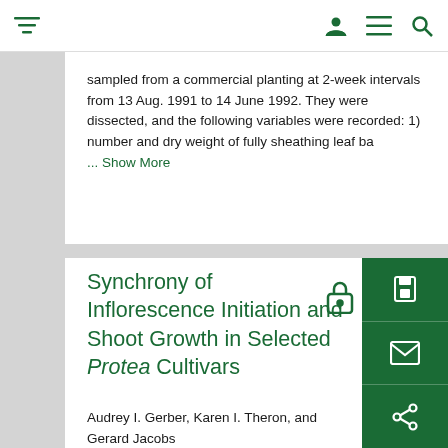Navigation bar with filter, user, menu, and search icons
sampled from a commercial planting at 2-week intervals from 13 Aug. 1991 to 14 June 1992. They were dissected, and the following variables were recorded: 1) number and dry weight of fully sheathing leaf ba
... Show More
Synchrony of Inflorescence Initiation and Shoot Growth in Selected Protea Cultivars
Audrey I. Gerber, Karen I. Theron, and Gerard Jacobs